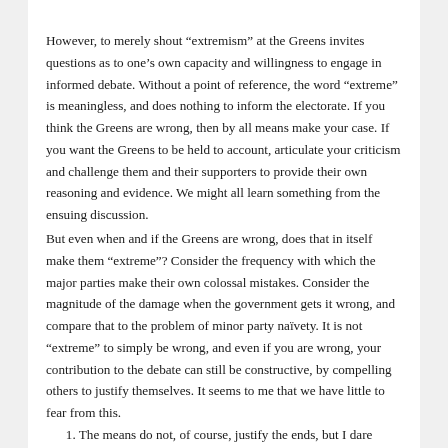However, to merely shout “extremism” at the Greens invites questions as to one’s own capacity and willingness to engage in informed debate. Without a point of reference, the word “extreme” is meaningless, and does nothing to inform the electorate. If you think the Greens are wrong, then by all means make your case. If you want the Greens to be held to account, articulate your criticism and challenge them and their supporters to provide their own reasoning and evidence. We might all learn something from the ensuing discussion.
But even when and if the Greens are wrong, does that in itself make them “extreme”? Consider the frequency with which the major parties make their own colossal mistakes. Consider the magnitude of the damage when the government gets it wrong, and compare that to the problem of minor party naïvety. It is not “extreme” to simply be wrong, and even if you are wrong, your contribution to the debate can still be constructive, by compelling others to justify themselves. It seems to me that we have little to fear from this.
1. The means do not, of course, justify the ends, but I dare